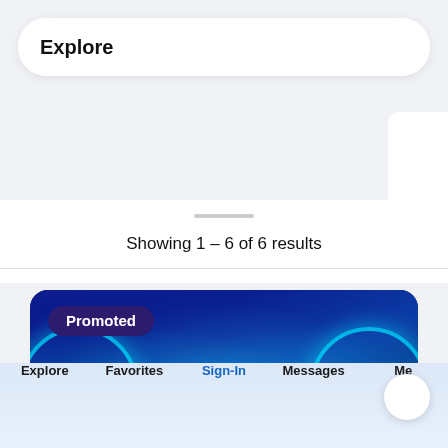Explore
Showing 1 – 6 of 6 results
[Figure (screenshot): Promoted banner card with dark blue background, cyan glowing circular arcs on left and right sides, a central glowing orb at the bottom, and a 'Promoted' badge label in the top-left corner]
Explore  Favorites  Sign-In  Messages  Me
Explore
Favorites
Sign-In
Messages
Me